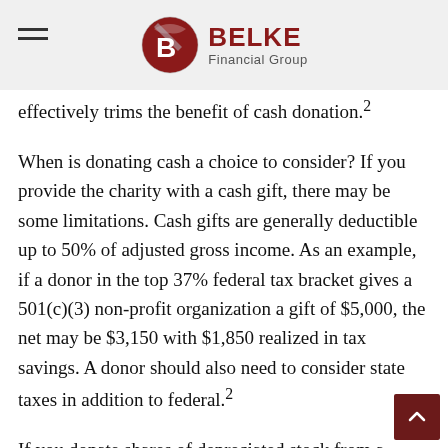Belke Financial Group
effectively trims the benefit of cash donation.²
When is donating cash a choice to consider? If you provide the charity with a cash gift, there may be some limitations. Cash gifts are generally deductible up to 50% of adjusted gross income. As an example, if a donor in the top 37% federal tax bracket gives a 501(c)(3) non-profit organization a gift of $5,000, the net may be $3,150 with $1,850 realized in tax savings. A donor should also need to consider state taxes in addition to federal.²
If you donate shares of depreciated stock from a taxable account to a charity, you can only deduct their current value, not the value they had when you originally bought them.¹